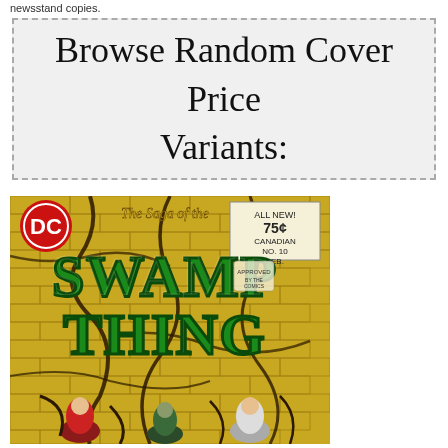newsstand copies.
Browse Random Cover Price Variants:
[Figure (illustration): Comic book cover: The Saga of the Swamp Thing, DC Comics, No. 10, Feb., 75 cents Canadian. Features large green text 'Swamp Thing' on a yellow brick wall background with dark vines, and figures at the bottom being attacked.]